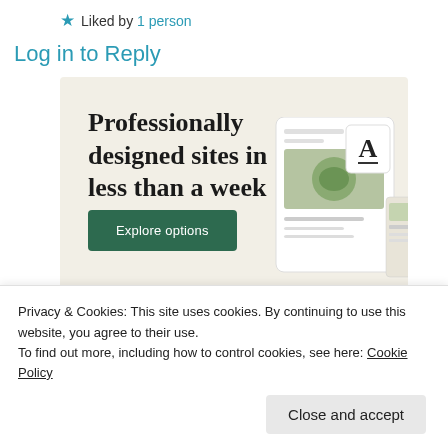★ Liked by 1 person
Log in to Reply
[Figure (screenshot): WordPress.com advertisement banner with beige background. Text reads 'Professionally designed sites in less than a week' with a green 'Explore options' button and mockup screenshots of websites on the right side.]
Privacy & Cookies: This site uses cookies. By continuing to use this website, you agree to their use.
To find out more, including how to control cookies, see here: Cookie Policy
Close and accept